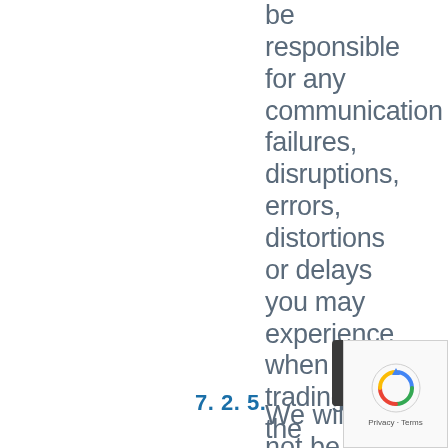be responsible for any communication failures, disruptions, errors, distortions or delays you may experience when trading via the Services, howsoever caused.
7. 2. 5.
We will not be